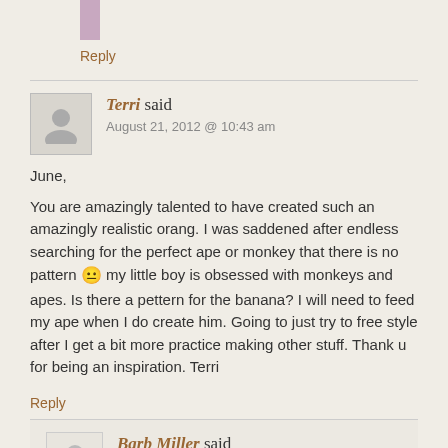Reply
Terri said
August 21, 2012 @ 10:43 am
June,

You are amazingly talented to have created such an amazingly realistic orang. I was saddened after endless searching for the perfect ape or monkey that there is no pattern 🙁 my little boy is obsessed with monkeys and apes. Is there a pettern for the banana? I will need to feed my ape when I do create him. Going to just try to free style after I get a bit more practice making other stuff. Thank u for being an inspiration. Terri
Reply
Barb Miller said
April 3, 2012 @ 3:21 pm
www.youtube.com/watch?v=--szrOHtR6U
This might help with knowing the difference between a monkey and an